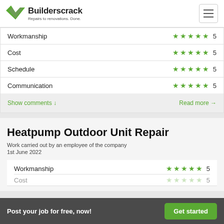Builderscrack – Repairs to renovations. Done.
| Category | Rating | Score |
| --- | --- | --- |
| Workmanship | ★★★★★ | 5 |
| Cost | ★★★★★ | 5 |
| Schedule | ★★★★★ | 5 |
| Communication | ★★★★★ | 5 |
Show comments ↓
Read more →
Heatpump Outdoor Unit Repair
Work carried out by an employee of the company
1st June 2022
Workmanship
5
Post your job for free, now!  Get started